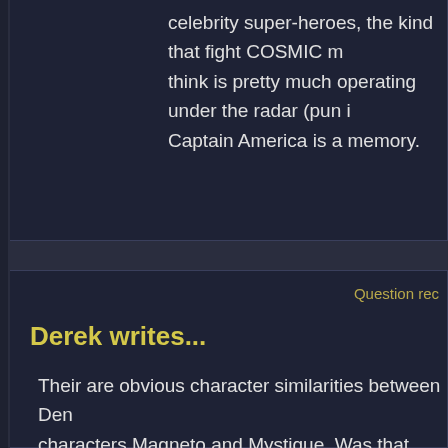celebrity super-heroes, the kind that fight COSMIC m... think is pretty much operating under the radar (pun i... Captain America is a memory.
Question rec
Derek writes...
Their are obvious character similarities between Den... characters Magneto and Mystique. Was that intention... a wringer for Mystique.
Greg responds...
I don't think there was ANY attempt to make Demona... Mystique. Magneto probably was something of an inf... but I think the similarities are more superficial than d... having much in common in terms of psychological m...